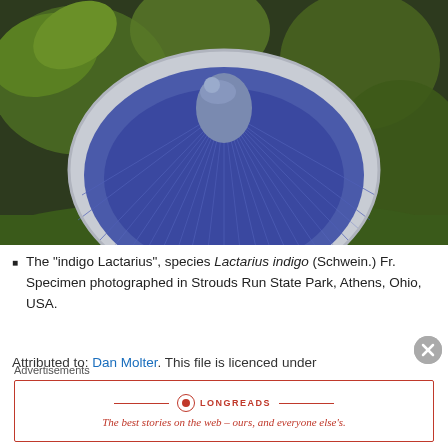[Figure (photo): Photograph of an indigo Lactarius mushroom (Lactarius indigo) viewed from below, showing its distinctive deep blue/indigo gills and cap, with a small snail visible on the stem. The mushroom is sitting on green moss/grass in a forest setting with green foliage in the background.]
The "indigo Lactarius", species Lactarius indigo (Schwein.) Fr. Specimen photographed in Strouds Run State Park, Athens, Ohio, USA.
Attributed to: Dan Molter. This file is licensed under ...
Advertisements
[Figure (screenshot): Longreads advertisement banner: The best stories on the web — ours, and everyone else's.]